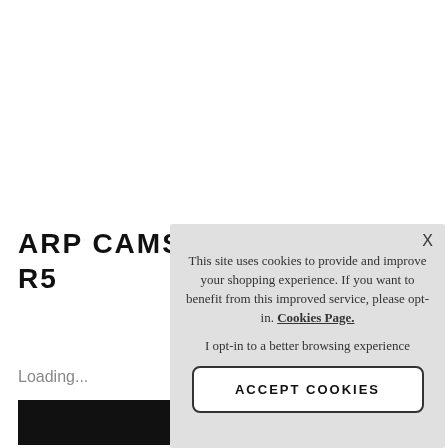ARP CAMS R5
Loading...
[Figure (other): Black loading progress bar]
This site uses cookies to provide and improve your shopping experience. If you want to benefit from this improved service, please opt-in. Cookies Page.

I opt-in to a better browsing experience

ACCEPT COOKIES